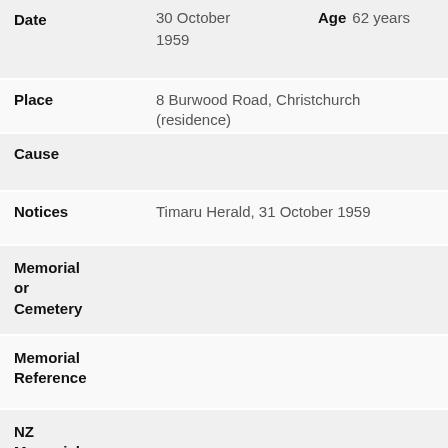| Field | Value |
| --- | --- |
| Date | 30 October 1959 | Age | 62 years |
| Place | 8 Burwood Road, Christchurch (residence) |
| Cause |  |
| Notices | Timaru Herald, 31 October 1959 |
| Memorial or Cemetery |  |
| Memorial Reference |  |
| NZ Memorials |  |